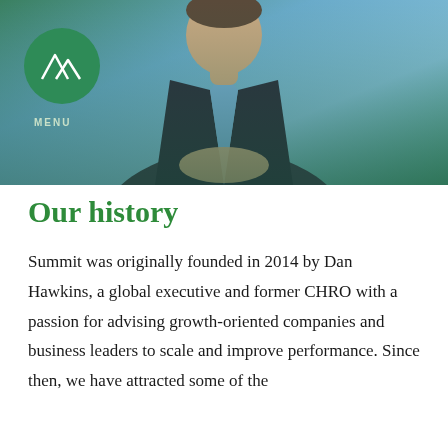[Figure (photo): A man in a dark suit and light blue shirt with hands clasped, shown from chest up, with a green-tinted overlay and a green circular logo with mountain peaks in the upper left corner, and 'MENU' text below the logo.]
Our history
Summit was originally founded in 2014 by Dan Hawkins, a global executive and former CHRO with a passion for advising growth-oriented companies and business leaders to scale and improve performance. Since then, we have attracted some of the